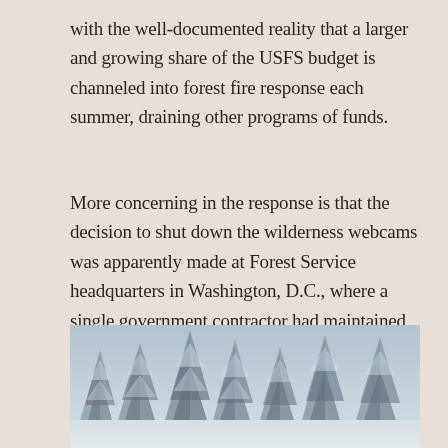with the well-documented reality that a larger and growing share of the USFS budget is channeled into forest fire response each summer, draining other programs of funds.
More concerning in the response is that the decision to shut down the wilderness webcams was apparently made at Forest Service headquarters in Washington, D.C., where a single government contractor had maintained the national network of cameras.
[Figure (photo): A wintry foggy scene with snow-covered evergreen trees (fir/spruce) standing in misty white conditions, landscape orientation, muted blue-grey tones.]